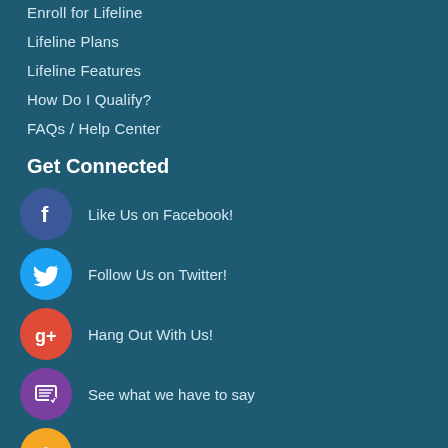Enroll for Lifeline
Lifeline Plans
Lifeline Features
How Do I Qualify?
FAQs / Help Center
Get Connected
Like Us on Facebook!
Follow Us on Twitter!
Hang Out With Us!
See what we have to say
Get Help Here
Testimonials
"I love my new phone from Q Link Wireless because it is easy to use and now I